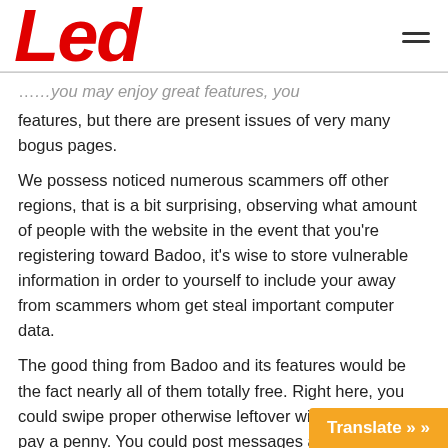Led
features, but there are present issues of very many bogus pages.
We possess noticed numerous scammers off other regions, that is a bit surprising, observing what amount of people with the website in the event that you're registering toward Badoo, it's wise to store vulnerable information in order to yourself to include your away from scammers whom get steal important computer data.
The good thing from Badoo and its features would be the fact nearly all of them totally free. Right here, you could swipe proper otherwise leftover without having to pay a penny. You could post messages and you can films talk to other participants.